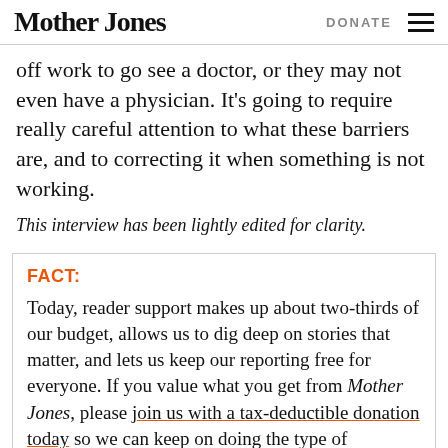Mother Jones   DONATE
off work to go see a doctor, or they may not even have a physician. It's going to require really careful attention to what these barriers are, and to correcting it when something is not working.
This interview has been lightly edited for clarity.
FACT:
Today, reader support makes up about two-thirds of our budget, allows us to dig deep on stories that matter, and lets us keep our reporting free for everyone. If you value what you get from Mother Jones, please join us with a tax-deductible donation today so we can keep on doing the type of journalism 2022 demands.